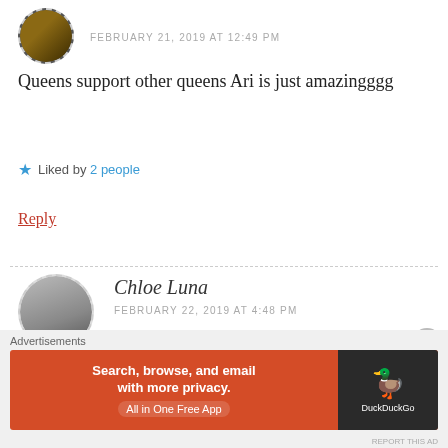FEBRUARY 21, 2019 AT 12:49 PM
Queens support other queens Ari is just amazingggg
Liked by 2 people
Reply
Chloe Luna
FEBRUARY 22, 2019 AT 4:48 PM
👑 👑 she so issss
Advertisements
[Figure (screenshot): DuckDuckGo advertisement banner: Search, browse, and email with more privacy. All in One Free App.]